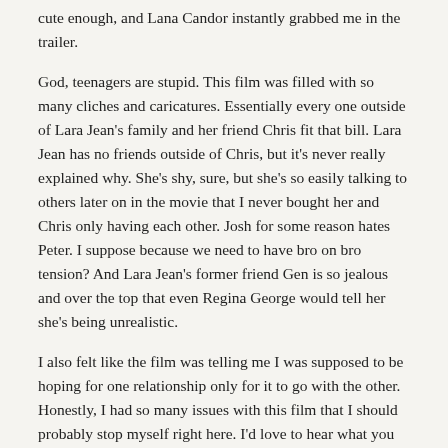cute enough, and Lana Candor instantly grabbed me in the trailer.
God, teenagers are stupid. This film was filled with so many cliches and caricatures. Essentially every one outside of Lara Jean's family and her friend Chris fit that bill. Lara Jean has no friends outside of Chris, but it's never really explained why. She's shy, sure, but she's so easily talking to others later on in the movie that I never bought her and Chris only having each other. Josh for some reason hates Peter. I suppose because we need to have bro on bro tension? And Lara Jean's former friend Gen is so jealous and over the top that even Regina George would tell her she's being unrealistic.
I also felt like the film was telling me I was supposed to be hoping for one relationship only for it to go with the other. Honestly, I had so many issues with this film that I should probably stop myself right here. I'd love to hear what you think, though.